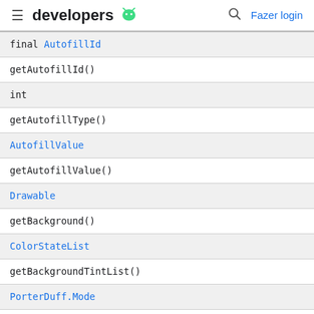developers [android logo] | search | Fazer login
| final AutofillId |
| getAutofillId() |
| int |
| getAutofillType() |
| AutofillValue |
| getAutofillValue() |
| Drawable |
| getBackground() |
| ColorStateList |
| getBackgroundTintList() |
| PorterDuff.Mode |
| getBackgroundTintMode() |
| int |